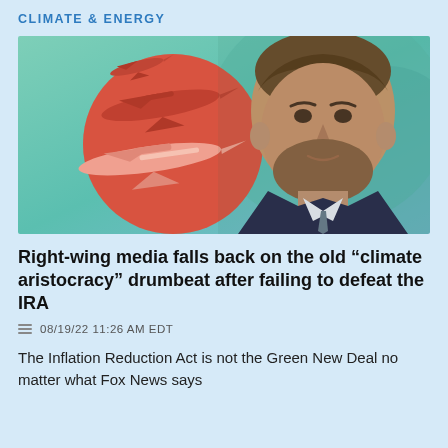CLIMATE & ENERGY
[Figure (photo): Composite image of a man in a suit with a beard against a teal/green background, with a coral-red circular illustration of private jets on the left side.]
Right-wing media falls back on the old “climate aristocracy” drumbeat after failing to defeat the IRA
08/19/22 11:26 AM EDT
The Inflation Reduction Act is not the Green New Deal no matter what Fox News says